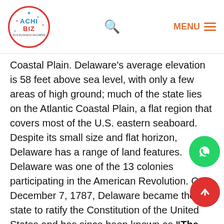ACHI BIZ — MENU
Coastal Plain. Delaware's average elevation is 58 feet above sea level, with only a few areas of high ground; much of the state lies on the Atlantic Coastal Plain, a flat region that covers most of the U.S. eastern seaboard. Despite its small size and flat horizon, Delaware has a range of land features. Delaware was one of the 13 colonies participating in the American Revolution. On December 7, 1787, Delaware became the first state to ratify the Constitution of the United States and has since been known as “The First State”. The state of Delaware is divided into 3 counties, namely, New Castle, Kent and Sussex. Before settlement by Europeans around the 16th century, Delaware was inhabited by several groups of Native American Indians.